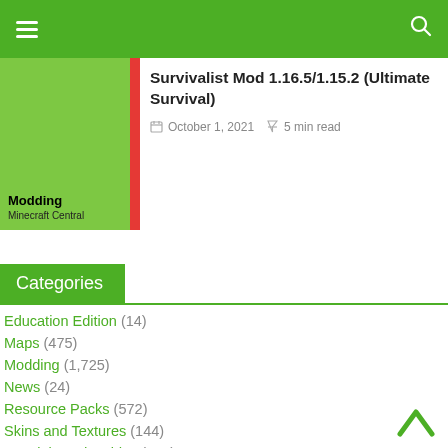≡ [Modding Minecraft Central] Survivalist Mod 1.16.5/1.15.2 (Ultimate Survival) | October 1, 2021 | 5 min read
Categories
Education Edition (14)
Maps (475)
Modding (1,725)
News (24)
Resource Packs (572)
Skins and Textures (144)
Tutorials and Guides (611)